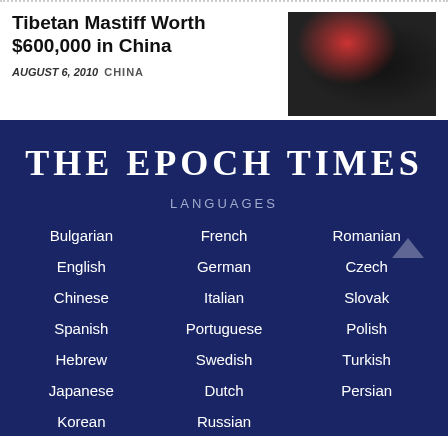Tibetan Mastiff Worth $600,000 in China
AUGUST 6, 2010  CHINA
[Figure (photo): Person hugging a large black Tibetan Mastiff dog with a red bow]
[Figure (logo): The Epoch Times logo in white serif text on dark navy background]
LANGUAGES
Bulgarian
French
Romanian
English
German
Czech
Chinese
Italian
Slovak
Spanish
Portuguese
Polish
Hebrew
Swedish
Turkish
Japanese
Dutch
Persian
Korean
Russian